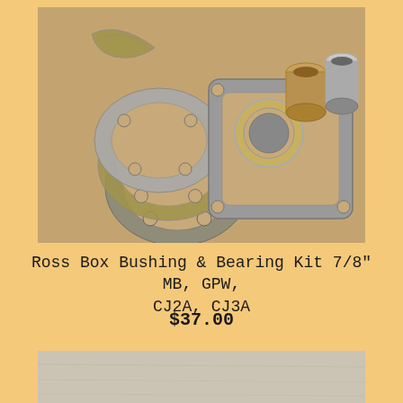[Figure (photo): Photo of Ross Box Bushing and Bearing Kit parts including metal gaskets/shims stacked on the left and a larger gasket with seal ring and two brass/metal bushings on the right, laid on a brown surface.]
Ross Box Bushing & Bearing Kit 7/8" MB, GPW, CJ2A, CJ3A
$37.00
[Figure (photo): Partial photo showing a gray/beige textured surface, likely another product item, cropped at the bottom of the page.]